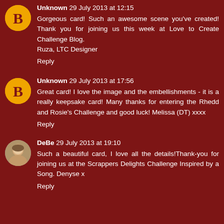Unknown 29 July 2013 at 12:15
Gorgeous card! Such an awesome scene you've created! Thank you for joining us this week at Love to Create Challenge Blog.
Ruza, LTC Designer
Reply
Unknown 29 July 2013 at 17:56
Great card! I love the image and the embellishments - it is a really keepsake card! Many thanks for entering the Rhedd and Rosie's Challenge and good luck! Melissa (DT) xxxx
Reply
DeBe 29 July 2013 at 19:10
Such a beautiful card, I love all the details!Thank-you for joining us at the Scrappers Delights Challenge Inspired by a Song. Denyse x
Reply